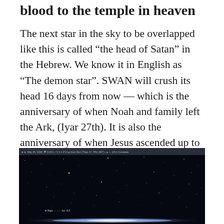blood to the temple in heaven
The next star in the sky to be overlapped like this is called “the head of Satan” in the Hebrew. We know it in English as “The demon star”. SWAN will crush its head 16 days from now — which is the anniversary of when Noah and family left the Ark, (Iyar 27th). It is also the anniversary of when Jesus ascended up to heaven in a cloud, (Iyar 26th or 27th).
[Figure (screenshot): Screenshot of astronomy software showing a dark star field with a comet or astronomical object visible, with a toolbar at the top showing date May 20, 2020 and other navigation controls.]